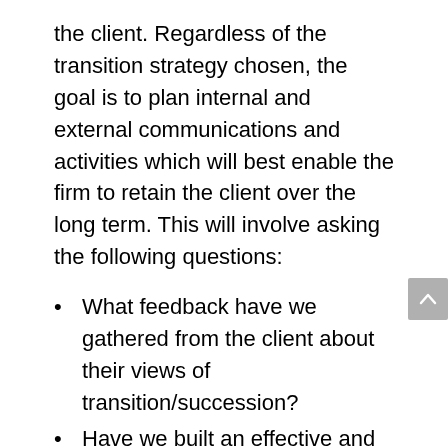the client. Regardless of the transition strategy chosen, the goal is to plan internal and external communications and activities which will best enable the firm to retain the client over the long term. This will involve asking the following questions:
What feedback have we gathered from the client about their views of transition/succession?
Have we built an effective and defined team to service each of our critical clients?
Is a member of that team directing and energizing team efforts to drive succession and improve the client's